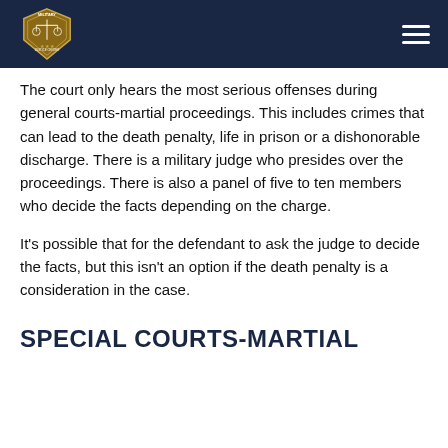Military Justice Center
The court only hears the most serious offenses during general courts-martial proceedings. This includes crimes that can lead to the death penalty, life in prison or a dishonorable discharge. There is a military judge who presides over the proceedings. There is also a panel of five to ten members who decide the facts depending on the charge.
It's possible that for the defendant to ask the judge to decide the facts, but this isn't an option if the death penalty is a consideration in the case.
SPECIAL COURTS-MARTIAL